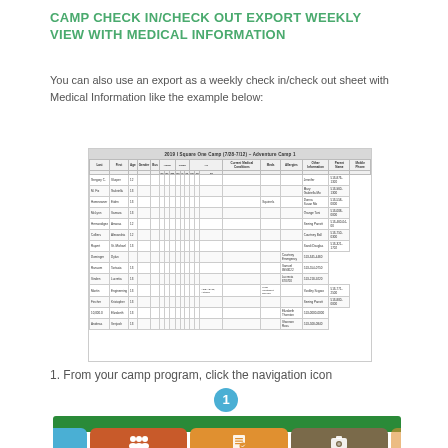CAMP CHECK IN/CHECK OUT EXPORT WEEKLY VIEW WITH MEDICAL INFORMATION
You can also use an export as a weekly check in/check out sheet with Medical Information like the example below:
[Figure (screenshot): Screenshot of a camp check in/check out weekly export table with medical information, showing columns for Last, First, Age, Gender, Bus, check-in/out times, Current Medical Conditions, Meds, Allergies, Other Information, Parent Name, and Mobile Phone, with multiple camper rows.]
1. From your camp program, click the navigation icon
[Figure (screenshot): Screenshot showing a blue circle with the number 1 (navigation icon indicator) and a camp management application interface with icons for Campers and Cabins, Participation Requirements, and Upload Media navigation buttons.]